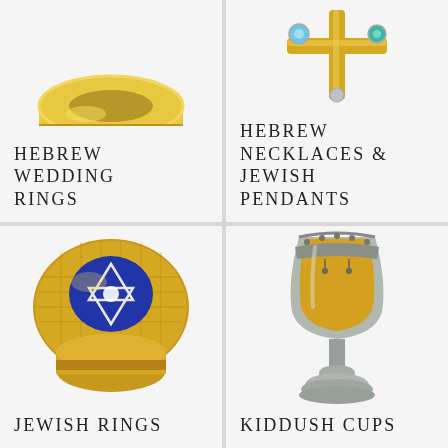[Figure (photo): Gold Hebrew wedding ring, partially cropped at top]
HEBREW WEDDING RINGS
[Figure (photo): Gold Hebrew necklace pendant with blue and teal gemstones, partially cropped at top]
HEBREW NECKLACES & JEWISH PENDANTS
[Figure (photo): Gold Jewish ring with blue enamel Star of David and diamonds]
JEWISH RINGS
[Figure (photo): Silver and gold Kiddush cup with ornate decorative rim]
KIDDUSH CUPS